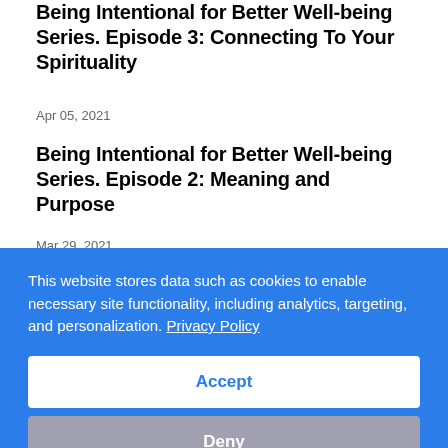Being Intentional for Better Well-being Series. Episode 3: Connecting To Your Spirituality
Apr 05, 2021
Being Intentional for Better Well-being Series. Episode 2: Meaning and Purpose
Mar 29, 2021
This website stores data such as cookies to enable necessary site functionality, including analytics, targeting, and personalization. Privacy Policy
Accept
Deny